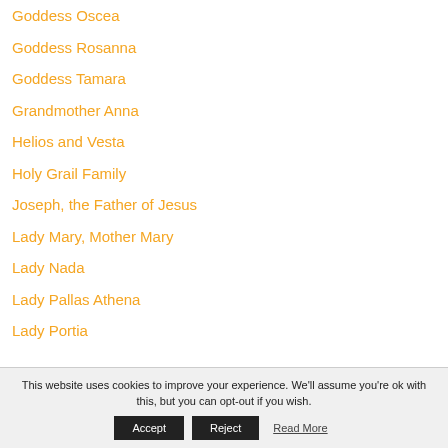Goddess Oscea
Goddess Rosanna
Goddess Tamara
Grandmother Anna
Helios and Vesta
Holy Grail Family
Joseph, the Father of Jesus
Lady Mary, Mother Mary
Lady Nada
Lady Pallas Athena
Lady Portia
This website uses cookies to improve your experience. We'll assume you're ok with this, but you can opt-out if you wish.